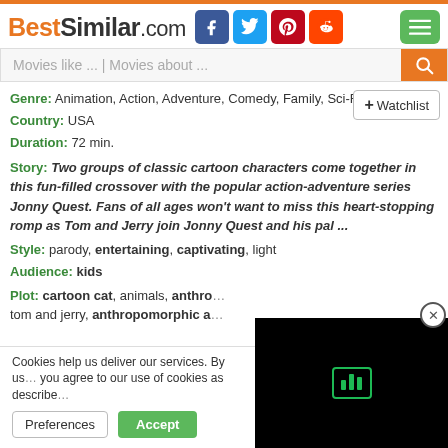BestSimilar.com
Movies like ... | Movies about ...
Genre: Animation, Action, Adventure, Comedy, Family, Sci-Fi
Country: USA
Duration: 72 min.
Story: Two groups of classic cartoon characters come together in this fun-filled crossover with the popular action-adventure series Jonny Quest. Fans of all ages won't want to miss this heart-stopping romp as Tom and Jerry join Jonny Quest and his pal ...
Style: parody, entertaining, captivating, light
Audience: kids
Plot: cartoon cat, animals, anthro... tom and jerry, anthropomorphic a...
Cookies help us deliver our services. By us... you agree to our use of cookies as describe...